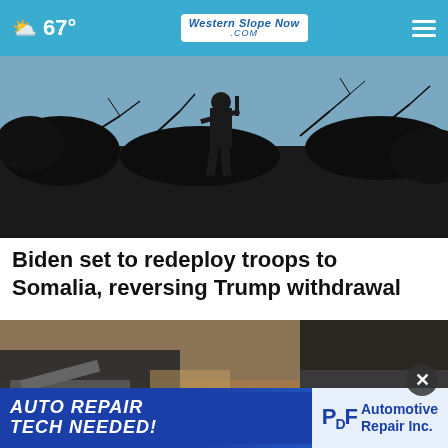☁ 67° — Western Slope Now .com
[Figure (photo): Silhouette of a soldier carrying a weapon walking through sparse, dark brush against a blue-grey sky]
Biden set to redeploy troops to Somalia, reversing Trump withdrawal
[Figure (photo): Close-up ground-level photo of what appears to be a vehicle crash/accident scene with debris, dirt, and people's feet/legs visible]
[Figure (other): Advertisement banner: AUTO REPAIR TECH NEEDED! PDF Automotive Repair Inc.]